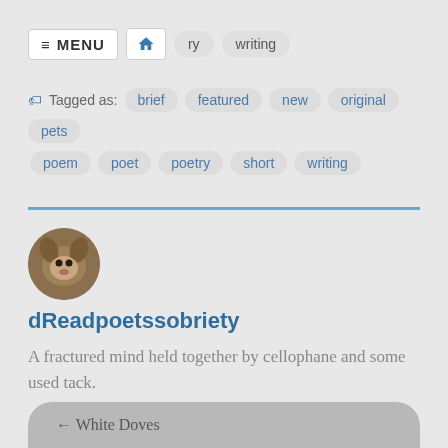≡ MENU  🏠  ry  writing
Tagged as: brief  featured  new  original  pets  poem  poet  poetry  short  writing
dReadpoetssobriety
A fractured mind held together by cellophane and some used tack.
← White Doves